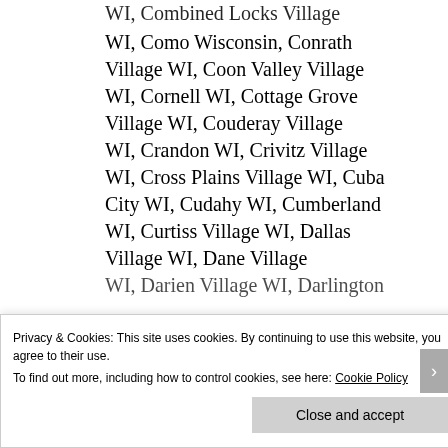WI, Combined Locks Village
WI, Como Wisconsin, Conrath Village WI, Coon Valley Village WI, Cornell WI, Cottage Grove Village WI, Couderay Village WI, Crandon WI, Crivitz Village WI, Cross Plains Village WI, Cuba City WI, Cudahy WI, Cumberland WI, Curtiss Village WI, Dallas Village WI, Dane Village
WI, Darien Village WI, Darlington
Privacy & Cookies: This site uses cookies. By continuing to use this website, you agree to their use.
To find out more, including how to control cookies, see here: Cookie Policy
Close and accept